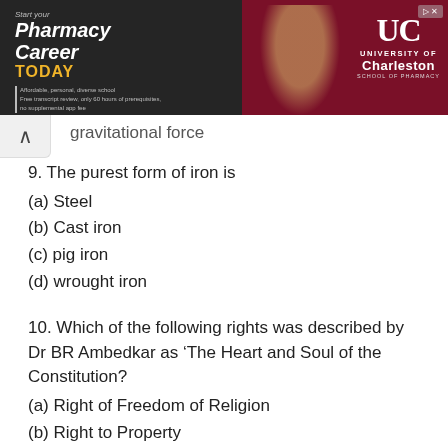[Figure (other): Advertisement banner for University of Charleston School of Pharmacy. Dark background with text 'Start your Pharmacy Career TODAY' on left, person's photo in center, and University of Charleston logo on right with skip button.]
gravitational force
9. The purest form of iron is
(a) Steel
(b) Cast iron
(c) pig iron
(d) wrought iron
10. Which of the following rights was described by Dr BR Ambedkar as ‘The Heart and Soul of the Constitution?
(a) Right of Freedom of Religion
(b) Right to Property
(c) Right to Equality
(d) Right to Constitutional Remedies